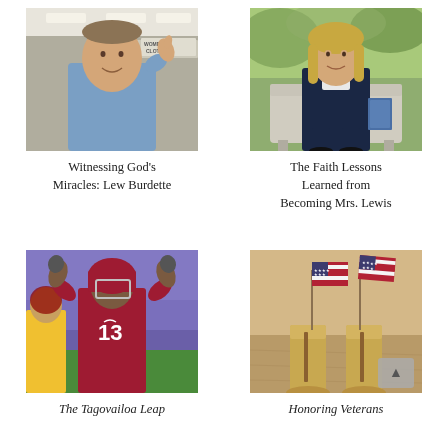[Figure (photo): Man in blue shirt smiling inside a clothing store, pointing upward]
Witnessing God's Miracles: Lew Burdette
[Figure (photo): Woman in dark navy suit sitting on a bench outdoors, smiling]
The Faith Lessons Learned from Becoming Mrs. Lewis
[Figure (photo): Football player wearing Alabama jersey number 13, raising both arms on field]
The Tagovailoa Leap
[Figure (photo): Two small American flags placed in military boots standing in dirt]
Honoring Veterans